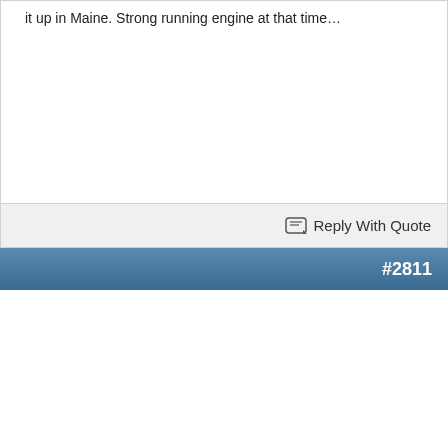it up in Maine. Strong running engine at that time…
Reply With Quote
#2811
Almost oldest ad in Trade-A-Plane
Attached Thumbnails
[Figure (photo): Scanned newspaper advertisement showing 'YOUR BALLS Saved My Life - St. Louis Pilot John Mozley Reports' with orange ball graphics, from Crossville, TN. Adjacent ads partially visible on left (yellow strip) and right (black strip).]